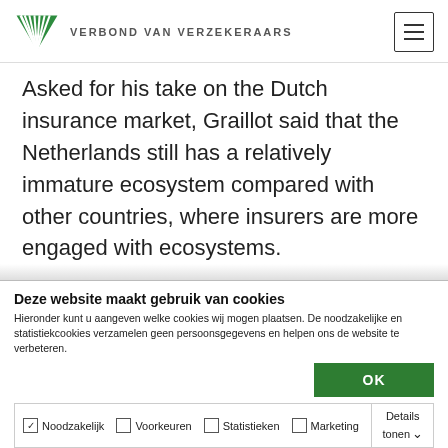Verbond van Verzekeraars
Asked for his take on the Dutch insurance market, Graillot said that the Netherlands still has a relatively immature ecosystem compared with other countries, where insurers are more engaged with ecosystems.
Deze website maakt gebruik van cookies
Hieronder kunt u aangeven welke cookies wij mogen plaatsen. De noodzakelijke en statistiekcookies verzamelen geen persoonsgegevens en helpen ons de website te verbeteren.